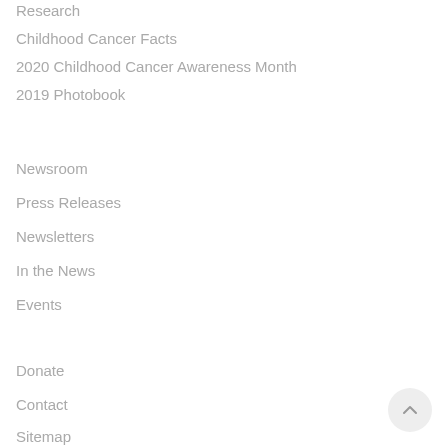Research
Childhood Cancer Facts
2020 Childhood Cancer Awareness Month
2019 Photobook
Newsroom
Press Releases
Newsletters
In the News
Events
Donate
Contact
Sitemap